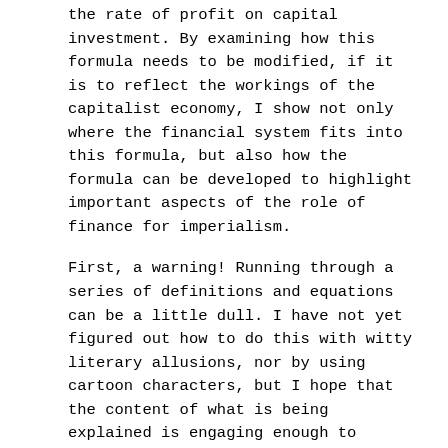the rate of profit on capital investment. By examining how this formula needs to be modified, if it is to reflect the workings of the capitalist economy, I show not only where the financial system fits into this formula, but also how the formula can be developed to highlight important aspects of the role of finance for imperialism.
First, a warning! Running through a series of definitions and equations can be a little dull. I have not yet figured out how to do this with witty literary allusions, nor by using cartoon characters, but I hope that the content of what is being explained is engaging enough to offset the dry form of presentation.
1. From the 'basic' rate of profit to a